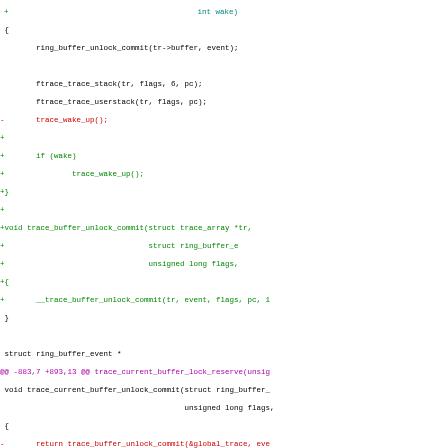[Figure (screenshot): Code diff screenshot showing C source code with added and removed lines. Green lines prefixed with '+' are additions, red lines prefixed with '-' are deletions, magenta lines show diff hunk headers. The code involves ring_buffer and trace functions.]